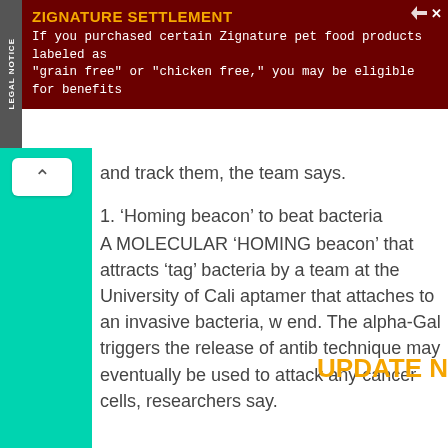[Figure (other): Legal Notice advertisement banner: ZIGNATURE SETTLEMENT - If you purchased certain Zignature pet food products labeled as 'grain free' or 'chicken free,' you may be eligible for benefits]
and track them, the team says.
1. 'Homing beacon' to beat bacteria A MOLECULAR 'HOMING beacon' that attracts 'tag' bacteria by a team at the University of Cali... aptamer that attaches to an invasive bacteria, w... end. The alpha-Gal triggers the release of antib... technique may eventually be used to attack any... cancer cells, researchers say.
UPDATE N